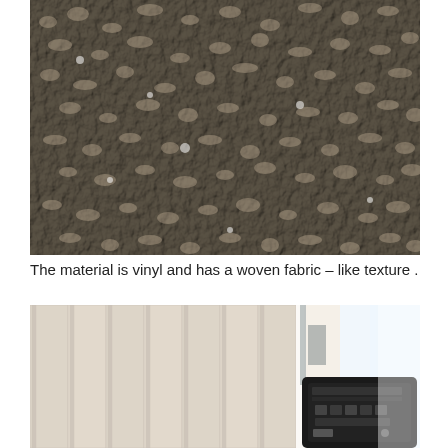[Figure (photo): Close-up photograph of a textured vinyl material with a woven fabric-like surface pattern. The texture is irregular, bumpy, and beige/tan in color with some reflective highlights.]
The material is vinyl and has a woven fabric – like texture .
[Figure (photo): Photograph of vertical blind slats in cream/white color, with a window visible on the right side letting in bright light. A dark object, possibly a piece of equipment or a device, is visible in the lower right corner.]